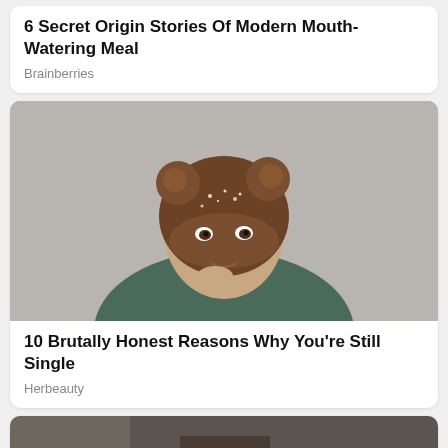6 Secret Origin Stories Of Modern Mouth-Watering Meal
Brainberries
[Figure (photo): Young woman with two bun hairstyles with glitter, wearing a green sweater, biting her finger, looking at camera against a gray background]
10 Brutally Honest Reasons Why You're Still Single
Herbeauty
[Figure (photo): Partial view of a person in a dark indoor setting, cut off at the bottom of the page]